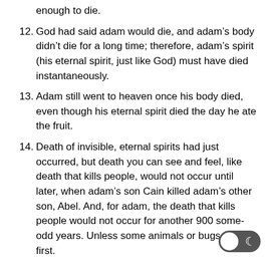enough to die.
12. God had said adam would die, and adam’s body didn’t die for a long time; therefore, adam’s spirit (his eternal spirit, just like God) must have died instantaneously.
13. Adam still went to heaven once his body died, even though his eternal spirit died the day he ate the fruit.
14. Death of invisible, eternal spirits had just occurred, but death you can see and feel, like death that kills people, would not occur until later, when adam’s son Cain killed adam’s other son, Abel. And, for adam, the death that kills people would not occur for another 900 some-odd years. Unless some animals or bugs died, first.